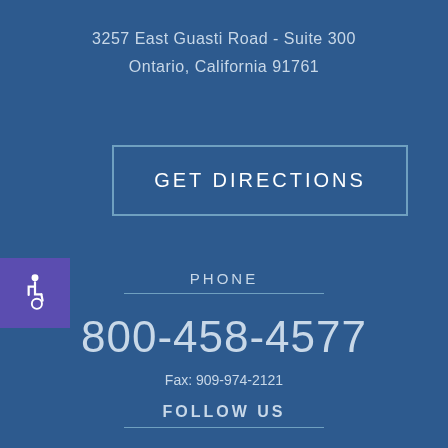3257 East Guasti Road - Suite 300
Ontario, California 91761
GET DIRECTIONS
PHONE
[Figure (illustration): Wheelchair accessibility icon in purple square]
800-458-4577
Fax: 909-974-2121
FOLLOW US